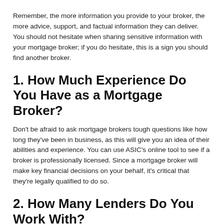Remember, the more information you provide to your broker, the more advice, support, and factual information they can deliver. You should not hesitate when sharing sensitive information with your mortgage broker; if you do hesitate, this is a sign you should find another broker.
1. How Much Experience Do You Have as a Mortgage Broker?
Don't be afraid to ask mortgage brokers tough questions like how long they've been in business, as this will give you an idea of their abilities and experience. You can use ASIC's online tool to see if a broker is professionally licensed. Since a mortgage broker will make key financial decisions on your behalf, it's critical that they're legally qualified to do so.
2. How Many Lenders Do You Work With?